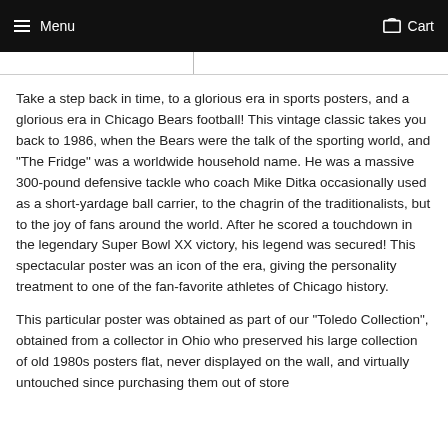Menu  Cart
Take a step back in time, to a glorious era in sports posters, and a glorious era in Chicago Bears football! This vintage classic takes you back to 1986, when the Bears were the talk of the sporting world, and "The Fridge" was a worldwide household name. He was a massive 300-pound defensive tackle who coach Mike Ditka occasionally used as a short-yardage ball carrier, to the chagrin of the traditionalists, but to the joy of fans around the world. After he scored a touchdown in the legendary Super Bowl XX victory, his legend was secured! This spectacular poster was an icon of the era, giving the personality treatment to one of the fan-favorite athletes of Chicago history.
This particular poster was obtained as part of our "Toledo Collection", obtained from a collector in Ohio who preserved his large collection of old 1980s posters flat, never displayed on the wall, and virtually untouched since purchasing them out of store